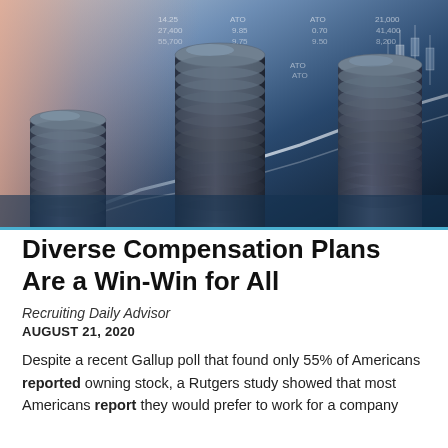[Figure (photo): Stacked coins of increasing height against a blurred stock market chart background with blue and orange tones, suggesting financial growth and investment.]
Diverse Compensation Plans Are a Win-Win for All
Recruiting Daily Advisor
AUGUST 21, 2020
Despite a recent Gallup poll that found only 55% of Americans reported owning stock, a Rutgers study showed that most Americans report they would prefer to work for a company